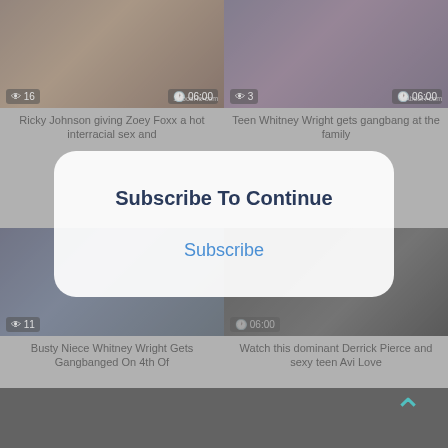[Figure (screenshot): Video thumbnail grid with subscribe modal overlay. Row 1: two video thumbnails with view counts (16, 3) and duration (06:00 each). Row 2: two video thumbnails with view counts (11) and duration (06:00). Row 3: two dark thumbnails. A modal dialog 'Subscribe To Continue' with a 'Subscribe' link overlaid in center. Back-to-top arrow bottom right.]